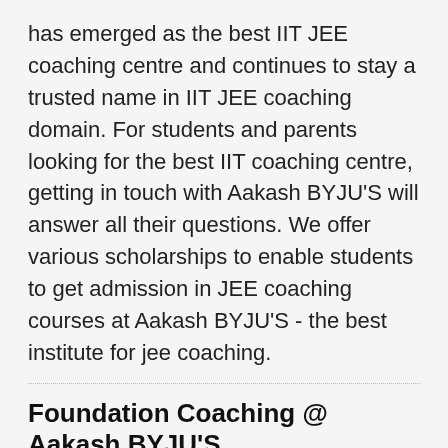has emerged as the best IIT JEE coaching centre and continues to stay a trusted name in IIT JEE coaching domain. For students and parents looking for the best IIT coaching centre, getting in touch with Aakash BYJU'S will answer all their questions. We offer various scholarships to enable students to get admission in JEE coaching courses at Aakash BYJU'S - the best institute for jee coaching.
Foundation Coaching @ Aakash BYJU'S
Aakash BYJU'S Foundation courses offer best quality education by highly qualified, experienced and well-trained faculty that not only help you pass school/board exams with flying colours but also crack competitive scholarship exams and Olympiads held at national as well as international level.